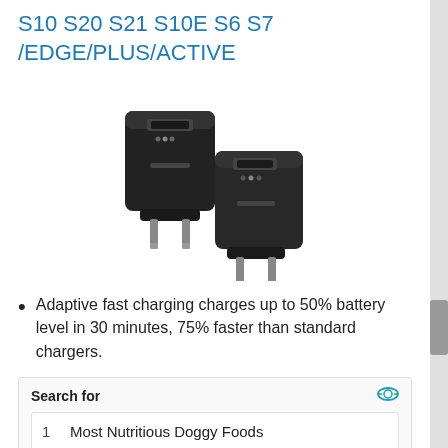S10 S20 S21 S10E S6 S7 /EDGE/PLUS/ACTIVE
[Figure (photo): Two black wall charger adapters with US plug prongs, stacked/overlapping arrangement]
Adaptive fast charging charges up to 50% battery level in 30 minutes, 75% faster than standard chargers.
Search for
1   Most Nutritious Doggy Foods
2   Moving Costs Cross Country
Yahoo! Search | Sponsored